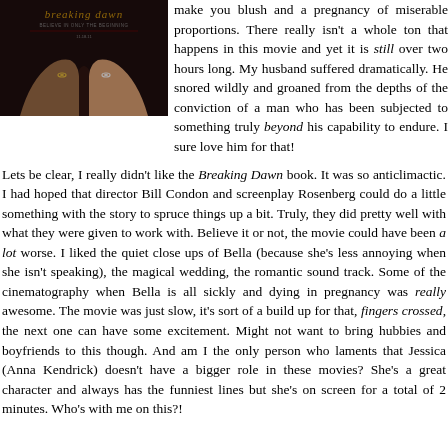[Figure (photo): Book/movie cover for Twilight: Breaking Dawn showing two hands with rings against a dark background, title text 'breaking dawn' in stylized font]
make you blush and a pregnancy of miserable proportions. There really isn't a whole ton that happens in this movie and yet it is still over two hours long. My husband suffered dramatically. He snored wildly and groaned from the depths of the conviction of a man who has been subjected to something truly beyond his capability to endure. I sure love him for that!
Lets be clear, I really didn't like the Breaking Dawn book. It was so anticlimactic. I had hoped that director Bill Condon and screenplay Rosenberg could do a little something with the story to spruce things up a bit. Truly, they did pretty well with what they were given to work with. Believe it or not, the movie could have been a lot worse. I liked the quiet close ups of Bella (because she's less annoying when she isn't speaking), the magical wedding, the romantic sound track. Some of the cinematography when Bella is all sickly and dying in pregnancy was really awesome. The movie was just slow, it's sort of a build up for that, fingers crossed, the next one can have some excitement. Might not want to bring hubbies and boyfriends to this though. And am I the only person who laments that Jessica (Anna Kendrick) doesn't have a bigger role in these movies? She's a great character and always has the funniest lines but she's on screen for a total of 2 minutes. Who's with me on this?!